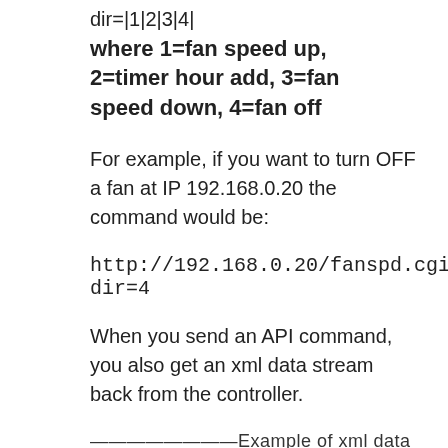dir=|1|2|3|4|
where 1=fan speed up, 2=timer hour add, 3=fan speed down, 4=fan off
For example, if you want to turn OFF a fan at IP 192.168.0.20 the command would be:
http://192.168.0.20/fanspd.cgi?dir=4
When you send an API command, you also get an xml data stream back from the controller.
————————Example of xml data ————————
fanspd<fanspd>0</fanspd>
doorinprocess<doorinprocess>0</doorinpro
timeremaining<timeremaining>0</timerem
macaddr<macaddr>60:CB:FB:99:99:0A</ma